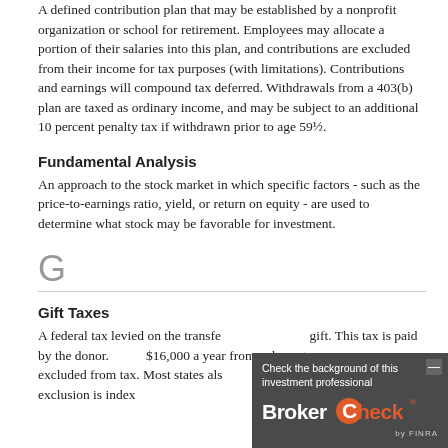A defined contribution plan that may be established by a nonprofit organization or school for retirement. Employees may allocate a portion of their salaries into this plan, and contributions are excluded from their income for tax purposes (with limitations). Contributions and earnings will compound tax deferred. Withdrawals from a 403(b) plan are taxed as ordinary income, and may be subject to an additional 10 percent penalty tax if withdrawn prior to age 59½.
Fundamental Analysis
An approach to the stock market in which specific factors - such as the price-to-earnings ratio, yield, or return on equity - are used to determine what stock may be favorable for investment.
G
Gift Taxes
A federal tax levied on the transfer of property by gift. This tax is paid by the donor. Up to $16,000 a year from a donor to each recipient is excluded from tax. Most states also impose a gift tax. The gift tax exclusion is indexed for inflation.